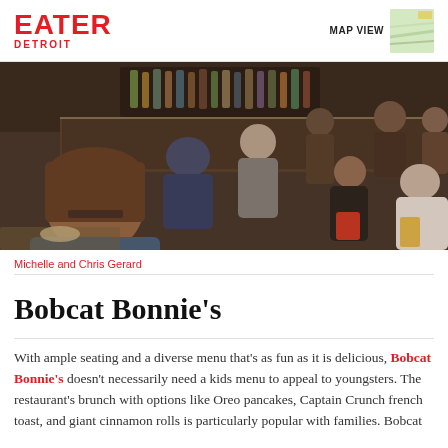EATER DETROIT | MAP VIEW
[Figure (photo): Interior of Bobcat Bonnie's restaurant showing diners seated at tables, a bar in the background with bottles, warm lighting. Families and individuals dining. Photo credit: Michelle and Chris Gerard.]
Michelle and Chris Gerard
Bobcat Bonnie's
With ample seating and a diverse menu that's as fun as it is delicious, Bobcat Bonnie's doesn't necessarily need a kids menu to appeal to youngsters. The restaurant's brunch with options like Oreo pancakes, Captain Crunch french toast, and giant cinnamon rolls is particularly popular with families. Bobcat